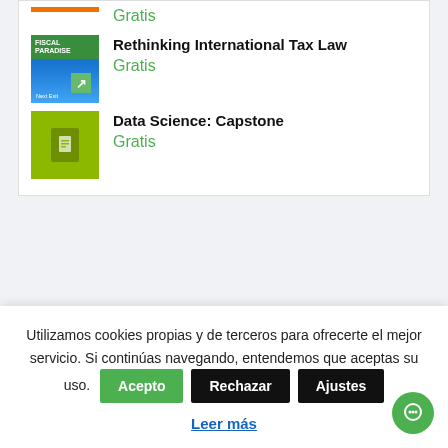[Figure (illustration): Book cover thumbnail with orange bar at top, fiscal paradise highway sign, green arrow]
Gratis
Rethinking International Tax Law
[Figure (illustration): Book cover for Rethinking International Tax Law - blue sky highway sign]
Gratis
Data Science: Capstone
[Figure (illustration): Book cover for Data Science Capstone - olive green background with document icon]
Gratis
Utilizamos cookies propias y de terceros para ofrecerte el mejor servicio. Si continúas navegando, entendemos que aceptas su uso.
Acepto
Rechazar
Ajustes
Leer más